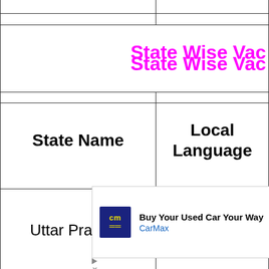State Wise Vac
| State Name | Local Language |
| --- | --- |
| Uttar Pradesh | Hindi / Urdu |
| M... | di |
[Figure (other): CarMax advertisement overlay: 'Buy Your Used Car Your Way' with CarMax logo and navigation arrow icon]